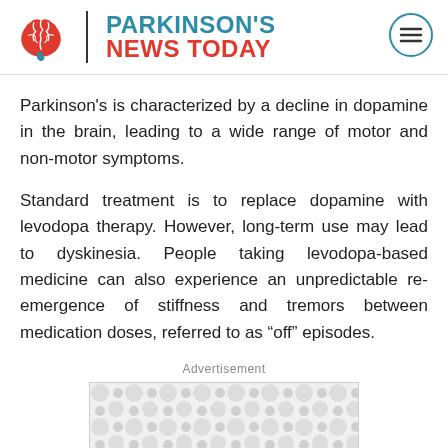PARKINSON'S NEWS TODAY
Parkinson’s is characterized by a decline in dopamine in the brain, leading to a wide range of motor and non-motor symptoms.
Standard treatment is to replace dopamine with levodopa therapy. However, long-term use may lead to dyskinesia. People taking levodopa-based medicine can also experience an unpredictable re-emergence of stiffness and tremors between medication doses, referred to as “off” episodes.
Advertisement
[Figure (other): Advertisement placeholder box with circular pattern background]